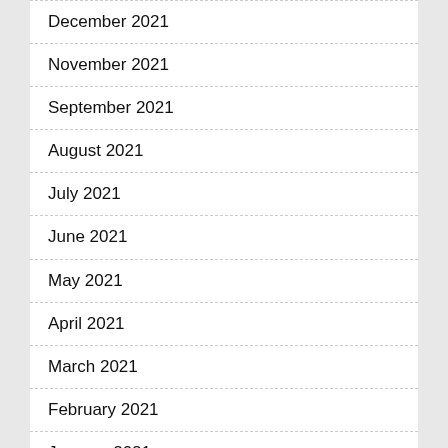December 2021
November 2021
September 2021
August 2021
July 2021
June 2021
May 2021
April 2021
March 2021
February 2021
January 2021
December 2020
November 2020